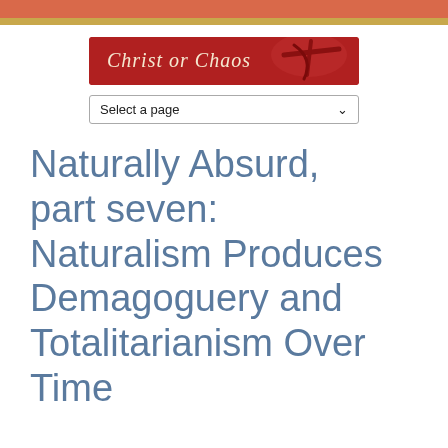[Figure (logo): Christ or Chaos website banner with red background and crucifix image]
[Figure (screenshot): Select a page dropdown navigation element]
Naturally Absurd, part seven: Naturalism Produces Demagoguery and Totalitarianism Over Time